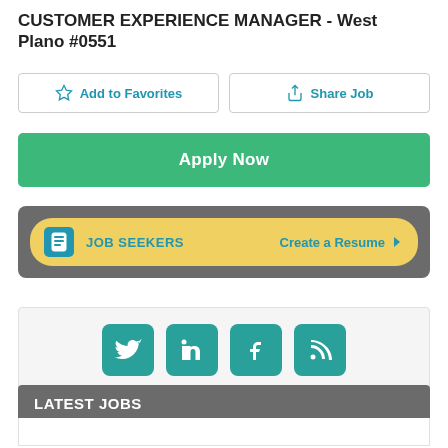CUSTOMER EXPERIENCE MANAGER - West Plano #0551
[Figure (other): Add to Favorites and Share Job buttons (outlined, with icons)]
[Figure (other): Apply Now green button]
[Figure (other): Job Seekers banner with Create a Resume link on yellow pill background inside grey box]
[Figure (other): Social media icons: Twitter, LinkedIn, Facebook, RSS feed — teal rounded square icons]
LATEST JOBS